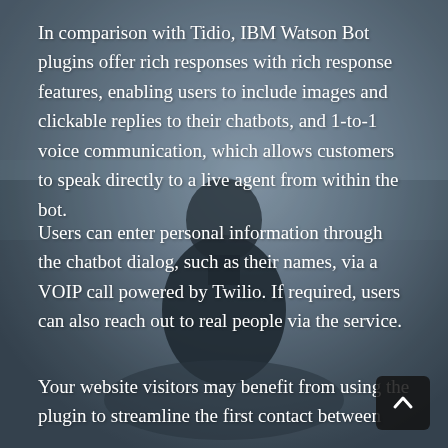[Figure (photo): Dark atmospheric background photo of a person sitting outdoors in foggy/misty conditions, seen from behind, wearing dark clothing. Muted grey-blue tones.]
In comparison with Tidio, IBM Watson Bot plugins offer rich responses with rich response features, enabling users to include images and clickable replies to their chatbots, and 1-to-1 voice communication, which allows customers to speak directly to a live agent from within the bot.
Users can enter personal information through the chatbot dialog, such as their names, via a VOIP call powered by Twilio. If required, users can also reach out to real people via the service.
Your website visitors may benefit from using the plugin to streamline the first contact between